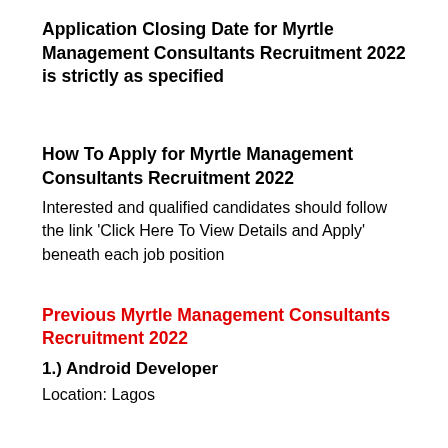Application Closing Date for Myrtle Management Consultants Recruitment 2022 is strictly as specified
How To Apply for Myrtle Management Consultants Recruitment 2022
Interested and qualified candidates should follow the link 'Click Here To View Details and Apply' beneath each job position
Previous Myrtle Management Consultants Recruitment 2022
1.) Android Developer
Location: Lagos